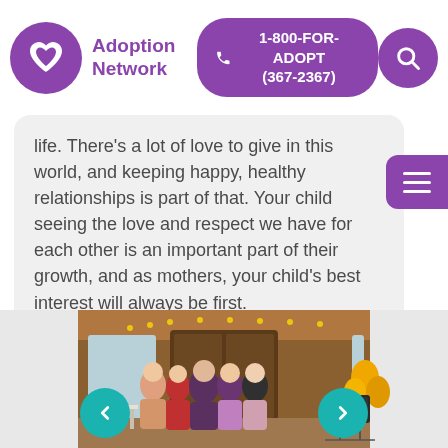Adoption Network | 1-800-FOR-ADOPT (367-2367)
life.  There's a lot of love to give in this world, and keeping happy, healthy relationships is part of that.  Your child seeing the love and respect we have for each other is an important part of their growth, and as mothers, your child's best interest will always be first.
[Figure (photo): Group photo of five women standing together in a banquet hall or event venue with golden balloons and a welcome sign in the background. Navigation arrows are visible at the bottom left and right of the photo carousel.]